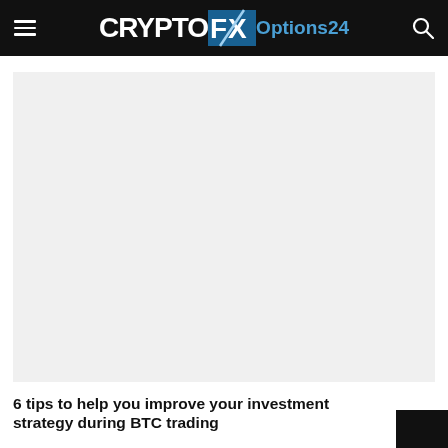CRYPTOFX Options24
[Figure (other): Advertisement placeholder area with light gray background]
6 tips to help you improve your investment strategy during BTC trading